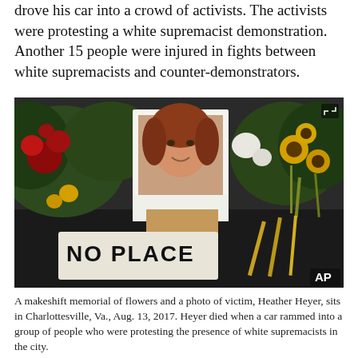drove his car into a crowd of activists. The activists were protesting a white supremacist demonstration. Another 15 people were injured in fights between white supremacists and counter-demonstrators.
[Figure (photo): A makeshift memorial with flowers and a Polaroid-style photo of Heather Heyer propped up among flowers and a sign reading 'NO PLACE'. AP watermark in bottom right corner.]
A makeshift memorial of flowers and a photo of victim, Heather Heyer, sits in Charlottesville, Va., Aug. 13, 2017. Heyer died when a car rammed into a group of people who were protesting the presence of white supremacists in the city.